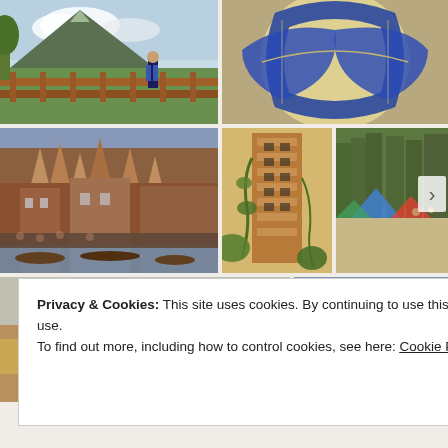[Figure (photo): Person standing by a wooden fence with a volcano mountain in the background, green tropical landscape]
[Figure (photo): Close-up of a blue and white volleyball on sand]
[Figure (photo): Varanasi ghats with Hindu temples and boats along the river, crowded scene]
[Figure (photo): Tall ornate brick tower building with vines, vintage warm tones]
[Figure (photo): Beach with camping tents and pine trees]
[Figure (photo): Person riding a camel with others nearby, desert/fair scene]
[Figure (photo): Green rolling hills with lush vegetation]
Privacy & Cookies: This site uses cookies. By continuing to use this website, you agree to their use.
To find out more, including how to control cookies, see here: Cookie Policy
Close and accept